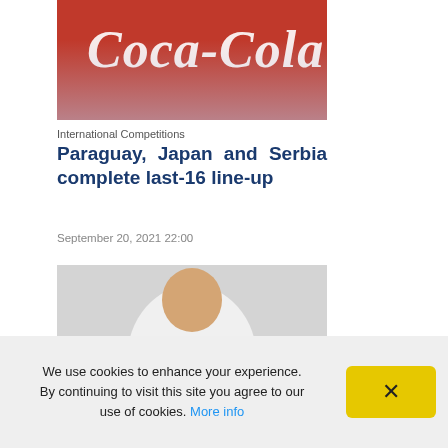[Figure (photo): Soccer players in white uniforms in front of a Coca-Cola advertisement banner]
International Competitions
Paraguay, Japan and Serbia complete last-16 line-up
September 20, 2021 22:00
[Figure (photo): Uzbekistan soccer player wearing number 2 jersey, pointing with both hands in a thumbs-up gesture]
Uzbekistan
Rakhmatov: It would be a dream to play against Douglas
We use cookies to enhance your experience. By continuing to visit this site you agree to our use of cookies. More info